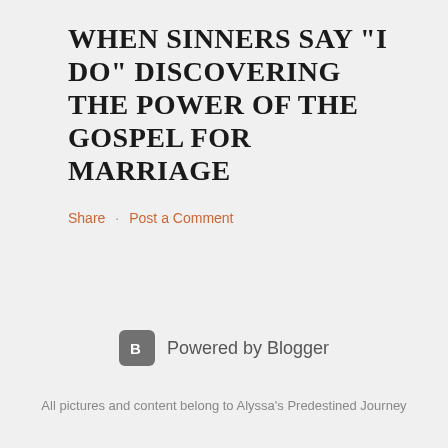WHEN SINNERS SAY "I DO" DISCOVERING THE POWER OF THE GOSPEL FOR MARRIAGE
Share · Post a Comment
[Figure (logo): Blogger logo icon — white letter B on a grey rounded square]
Powered by Blogger
All pictures and content belong to Alyssa's Predestined Journey